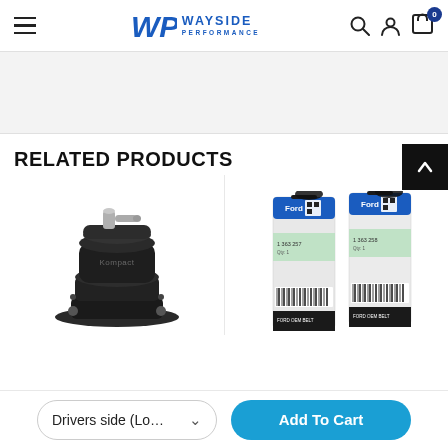Wayside Performance — navigation header with logo, search, user, and cart icons
RELATED PRODUCTS
[Figure (photo): Black Kompact blow-off valve / diverter valve with silver barbed fitting on top, shown from above on white background]
[Figure (photo): Two Ford OEM serpentine belts in retail packaging showing Ford part labels and barcodes]
Drivers side (Lo… ∨
Add To Cart